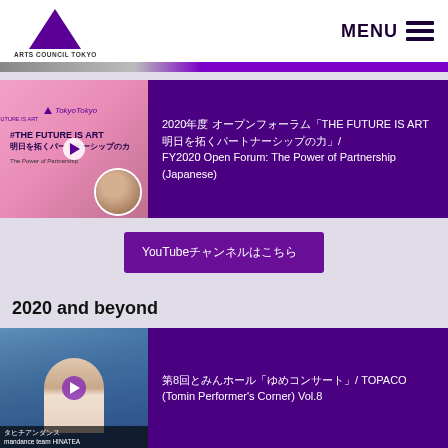[Figure (logo): Arts Council Tokyo logo — purple triangle above text ARTS COUNCIL TOKYO]
MENU
[Figure (screenshot): Video thumbnail: pink background with #THE FUTURE IS ART branding and person portrait]
2020年度 オープンフォーラム「THE FUTURE IS ART 明日を拓くパートナーシップの力」/ FY2020 Open Forum: The Power of Partnership (Japanese)
YouTubeチャンネルはこちら
2020 and beyond
[Figure (screenshot): Video thumbnail: performer dancing on stage with text タヒチアンダンス / mandance team HINATEA]
第8回とみんホール「ゆめコンサート」/ TOPACO (Tomin Performer's Corner) Vol.8